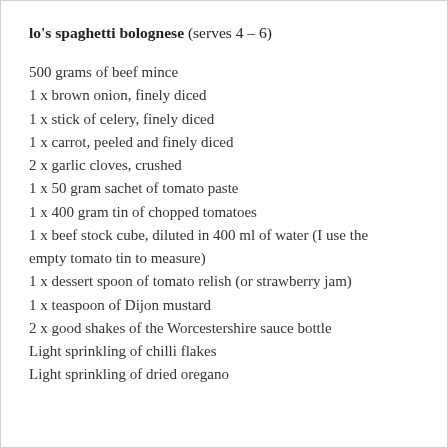lo's spaghetti bolognese (serves 4 – 6)
500 grams of beef mince
1 x brown onion, finely diced
1 x stick of celery, finely diced
1 x carrot, peeled and finely diced
2 x garlic cloves, crushed
1 x 50 gram sachet of tomato paste
1 x 400 gram tin of chopped tomatoes
1 x beef stock cube, diluted in 400 ml of water (I use the empty tomato tin to measure)
1 x dessert spoon of tomato relish (or strawberry jam)
1 x teaspoon of Dijon mustard
2 x good shakes of the Worcestershire sauce bottle
Light sprinkling of chilli flakes
Light sprinkling of dried oregano